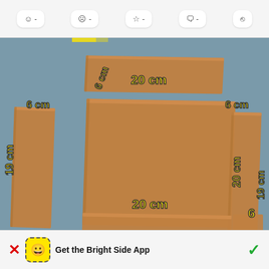[Figure (screenshot): Toolbar with emoji reaction buttons: happy face, sad face, star, comment, share icons]
[Figure (illustration): 3D rendered cardboard pieces laid out flat on a blue-gray surface with yellow dimension labels: pieces labeled 20cm x 20cm (large square), 20cm x 6cm (top horizontal), 6cm x 19cm (left vertical), 6cm x 19cm (right vertical), and a partial piece at bottom with 20cm label and '6' partially visible. Labels in yellow bold text.]
Get the Bright Side App